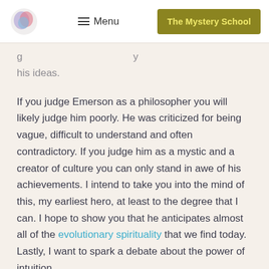Menu | The Mystery School
g … his ideas.
If you judge Emerson as a philosopher you will likely judge him poorly. He was criticized for being vague, difficult to understand and often contradictory. If you judge him as a mystic and a creator of culture you can only stand in awe of his achievements. I intend to take you into the mind of this, my earliest hero, at least to the degree that I can. I hope to show you that he anticipates almost all of the evolutionary spirituality that we find today. Lastly, I want to spark a debate about the power of intuition